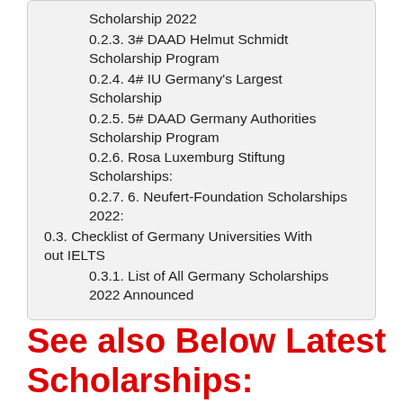Scholarship 2022
0.2.3. 3# DAAD Helmut Schmidt Scholarship Program
0.2.4. 4# IU Germany's Largest Scholarship
0.2.5. 5# DAAD Germany Authorities Scholarship Program
0.2.6. Rosa Luxemburg Stiftung Scholarships:
0.2.7. 6. Neufert-Foundation Scholarships 2022:
0.3. Checklist of Germany Universities Without IELTS
0.3.1. List of All Germany Scholarships 2022 Announced
See also Below Latest Scholarships: